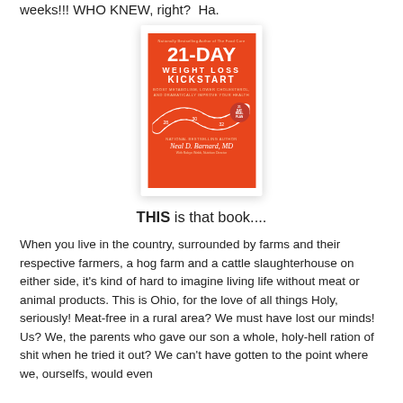weeks!!! WHO KNEW, right?  Ha.
[Figure (photo): Book cover of '21-Day Weight Loss Kickstart' by Neal D. Barnard, MD. Orange cover with a measuring tape graphic. Subtitle: Boost Metabolism, Lower Cholesterol, and Dramatically Improve Your Health.]
THIS is that book....
When you live in the country, surrounded by farms and their respective farmers, a hog farm and a cattle slaughterhouse on either side, it's kind of hard to imagine living life without meat or animal products. This is Ohio, for the love of all things Holy, seriously! Meat-free in a rural area? We must have lost our minds! Us? We, the parents who gave our son a whole, holy-hell ration of shit when he tried it out? We can't have gotten to the point where we, ourselfs, would even